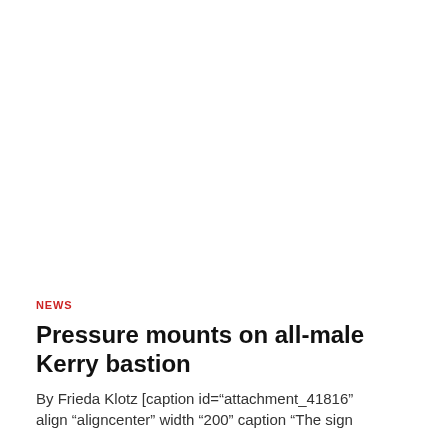NEWS
Pressure mounts on all-male Kerry bastion
By Frieda Klotz [caption id="attachment_41816" align "aligncenter" width "200" caption "The sign